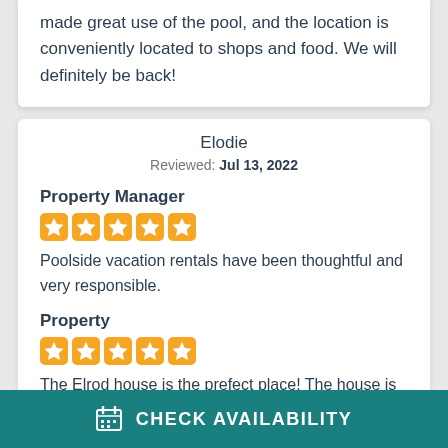made great use of the pool, and the location is conveniently located to shops and food. We will definitely be back!
Elodie
Reviewed: Jul 13, 2022
Property Manager
[Figure (other): 5 orange star rating icons]
Poolside vacation rentals have been thoughtful and very responsible.
Property
[Figure (other): 5 orange star rating icons]
The Elrod house is the prefect place! The house is
CHECK AVAILABILITY